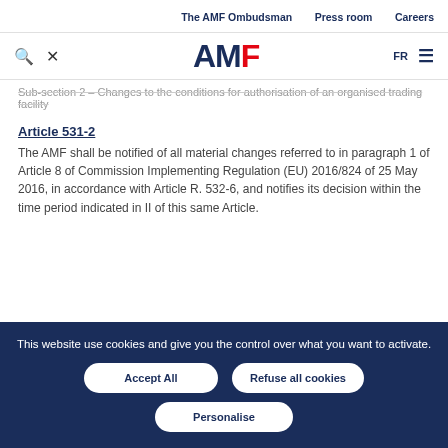The AMF Ombudsman   Press room   Careers
[Figure (logo): AMF logo with search and tool icons on left, FR language selector and hamburger menu on right]
Sub-section 2 – Changes to the conditions for authorisation of an organised trading facility
Article 531-2
The AMF shall be notified of all material changes referred to in paragraph 1 of Article 8 of Commission Implementing Regulation (EU) 2016/824 of 25 May 2016, in accordance with Article R. 532-6, and notifies its decision within the time period indicated in II of this same Article.
This website use cookies and give you the control over what you want to activate.
Accept All   Refuse all cookies   Personalise